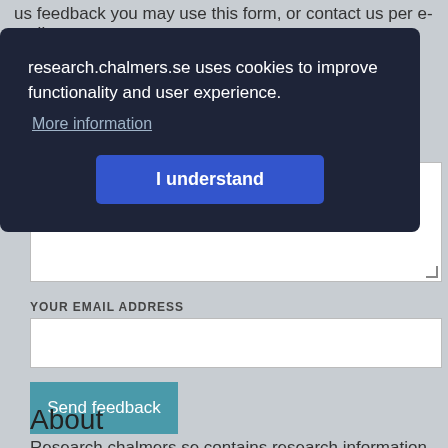us feedback you may use this form, or contact us per e-mail
[Figure (screenshot): Cookie consent overlay with dark background. Text reads: 'research.chalmers.se uses cookies to improve functionality and user experience.' A 'More information' link and 'I understand' blue button are shown.]
YOUR EMAIL ADDRESS
Send feedback
About
Research.chalmers.se contains research information from